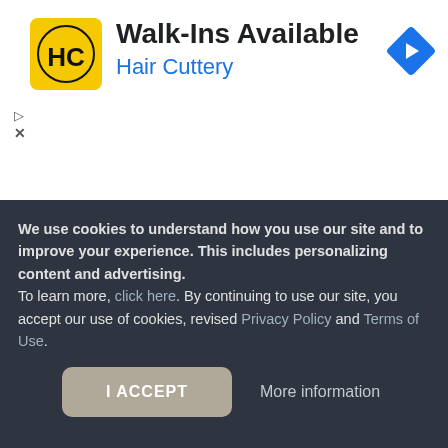[Figure (screenshot): Hair Cuttery advertisement banner with yellow HC logo, title 'Walk-Ins Available', subtitle 'Hair Cuttery', and blue navigation diamond icon]
Rating breakdown
We use cookies to understand how you use our site and to improve your experience. This includes personalizing content and advertising.
To learn more, click here. By continuing to use our site, you accept our use of cookies, revised Privacy Policy and Terms of Use.
I ACCEPT
More information